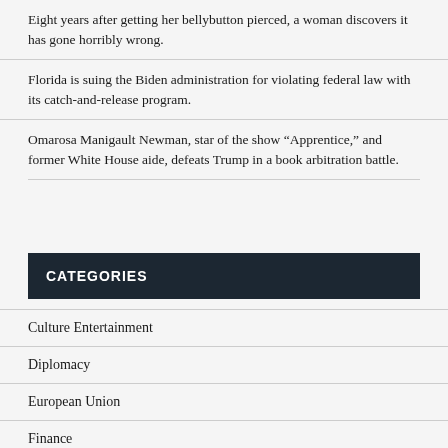Eight years after getting her bellybutton pierced, a woman discovers it has gone horribly wrong.
Florida is suing the Biden administration for violating federal law with its catch-and-release program.
Omarosa Manigault Newman, star of the show “Apprentice,” and former White House aide, defeats Trump in a book arbitration battle.
CATEGORIES
Culture Entertainment
Diplomacy
European Union
Finance